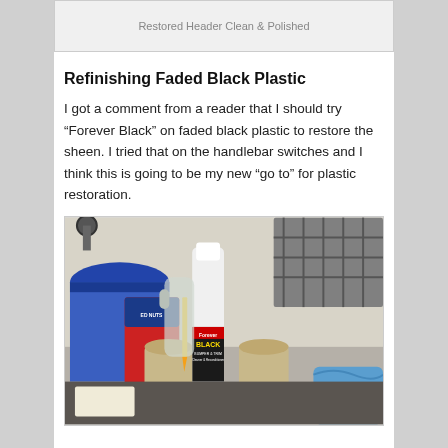[Figure (photo): Top partial image showing 'Restored Header Clean & Polished' caption text on a light gray background]
Refinishing Faded Black Plastic
I got a comment from a reader that I should try “Forever Black” on faded black plastic to restore the sheen. I tried that on the handlebar switches and I think this is going to be my new “go to” for plastic restoration.
[Figure (photo): Photo of a workbench with various products including a bottle of Forever Black Bumper & Trim Cleaner & Reconditioner, cans of nuts, buckets, tools hanging on a wall rack, and a blue cloth]